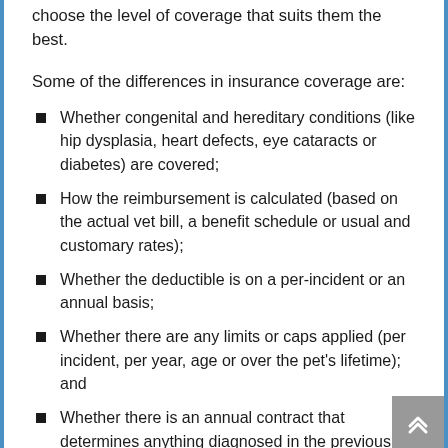choose the level of coverage that suits them the best.
Some of the differences in insurance coverage are:
Whether congenital and hereditary conditions (like hip dysplasia, heart defects, eye cataracts or diabetes) are covered;
How the reimbursement is calculated (based on the actual vet bill, a benefit schedule or usual and customary rates);
Whether the deductible is on a per-incident or an annual basis;
Whether there are any limits or caps applied (per incident, per year, age or over the pet's lifetime); and
Whether there is an annual contract that determines anything diagnosed in the previous year of coverage is considered pre-existing the next year.